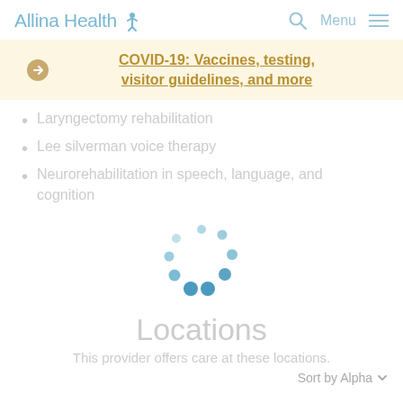Allina Health [logo] | Search | Menu
COVID-19: Vaccines, testing, visitor guidelines, and more
Laryngectomy rehabilitation
Lee silverman voice therapy
Neurorehabilitation in speech, language, and cognition
[Figure (other): Circular loading spinner animation consisting of blue dots arranged in a circle, indicating content is loading]
Locations
This provider offers care at these locations.
Sort by Alpha